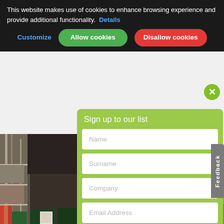This website makes use of cookies to enhance browsing experience and provide additional functionality. Details
Customize | Allow cookies | Disallow cookies
[Figure (photo): Interior of a store or warehouse with shelving units and stacked products]
Sign up to our list
Name input field
Surname input field
Company input field
Email Address input field
Subscribe button